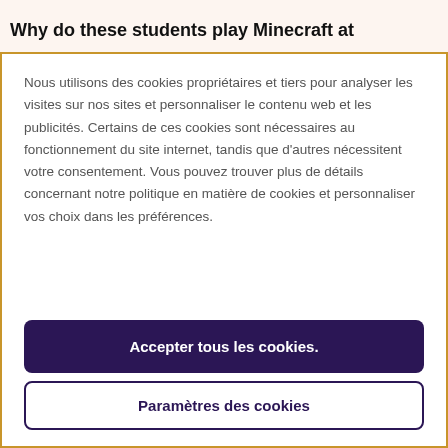Why do these students play Minecraft at
Nous utilisons des cookies propriétaires et tiers pour analyser les visites sur nos sites et personnaliser le contenu web et les publicités. Certains de ces cookies sont nécessaires au fonctionnement du site internet, tandis que d'autres nécessitent votre consentement. Vous pouvez trouver plus de détails concernant notre politique en matière de cookies et personnaliser vos choix dans les préférences.
Accepter tous les cookies.
Paramètres des cookies